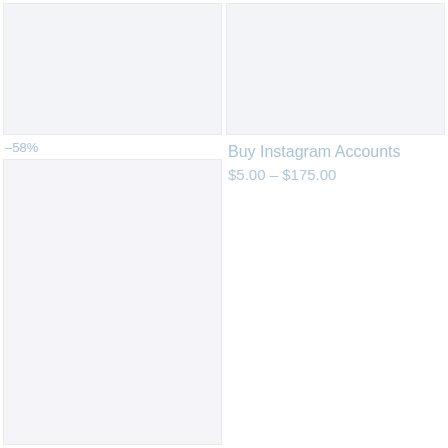[Figure (photo): Light gray placeholder image box, top-left product card top image]
–58%
[Figure (photo): Light gray placeholder image box, top-left product card bottom image]
[Figure (photo): Light gray placeholder image box, top-right product card image]
Buy Instagram Accounts
$5.00 – $175.00